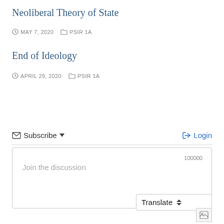Neoliberal Theory of State
MAY 7, 2020   PSIR 1A
End of Ideology
APRIL 29, 2020   PSIR 1A
Subscribe   Login
Join the discussion
100000
Translate